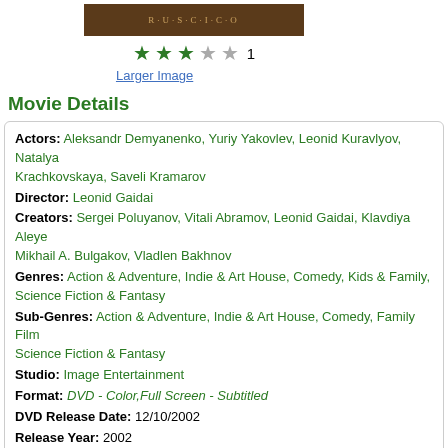[Figure (photo): Movie cover image with text R·U·S·C·I·C·O on dark background]
★★★☆☆ 1
Larger Image
Movie Details
Actors: Aleksandr Demyanenko, Yuriy Yakovlev, Leonid Kuravlyov, Natalya Krachkovskaya, Saveli Kramarov
Director: Leonid Gaidai
Creators: Sergei Poluyanov, Vitali Abramov, Leonid Gaidai, Klavdiya Aleye... Mikhail A. Bulgakov, Vladlen Bakhnov
Genres: Action & Adventure, Indie & Art House, Comedy, Kids & Family, Science Fiction & Fantasy
Sub-Genres: Action & Adventure, Indie & Art House, Comedy, Family Film, Science Fiction & Fantasy
Studio: Image Entertainment
Format: DVD - Color,Full Screen - Subtitled
DVD Release Date: 12/10/2002
Release Year: 2002
Run Time: 1hr 33min
Screens: Color,Full Screen
Number of Discs: 1
SwapaDVD Credits: 1
Total Copies: 0